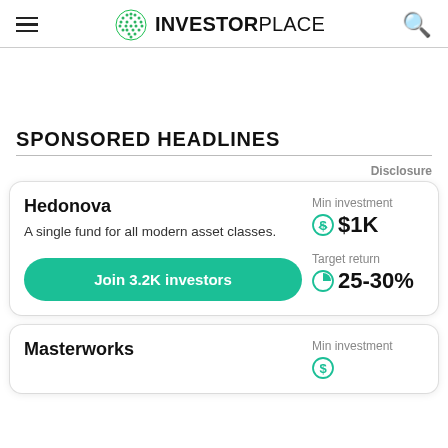INVESTORPLACE
SPONSORED HEADLINES
Disclosure
Hedonova
A single fund for all modern asset classes.
Join 3.2K investors
Min investment $1K
Target return 25-30%
Masterworks
Min investment